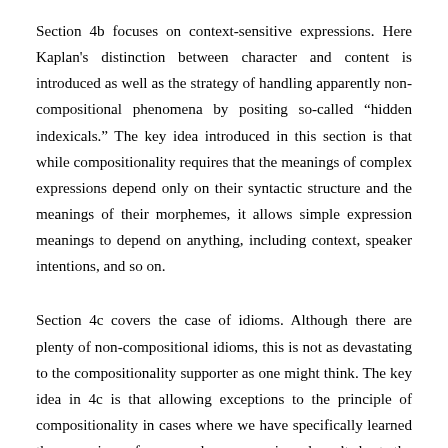Section 4b focuses on context-sensitive expressions. Here Kaplan's distinction between character and content is introduced as well as the strategy of handling apparently non-compositional phenomena by positing so-called “hidden indexicals.” The key idea introduced in this section is that while compositionality requires that the meanings of complex expressions depend only on their syntactic structure and the meanings of their morphemes, it allows simple expression meanings to depend on anything, including context, speaker intentions, and so on.
Section 4c covers the case of idioms. Although there are plenty of non-compositional idioms, this is not as devastating to the compositionality supporter as one might think. The key idea in 4c is that allowing exceptions to the principle of compositionality in cases where we have specifically learned the meaning of a complex expression doesn’t hurt the dialectical purposes that principle is mainly used for. A real problem for compositionality would be a large number of cases